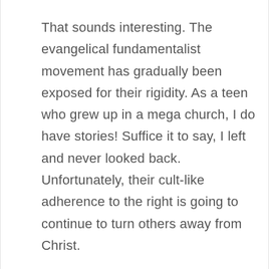That sounds interesting. The evangelical fundamentalist movement has gradually been exposed for their rigidity. As a teen who grew up in a mega church, I do have stories! Suffice it to say, I left and never looked back. Unfortunately, their cult-like adherence to the right is going to continue to turn others away from Christ.